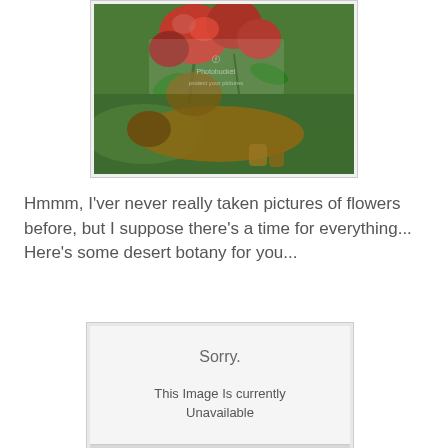[Figure (photo): A dog lying on green grass with large red roses positioned above it, with a Photobucket watermark overlay visible in the image]
Hmmm, I'ver never really taken pictures of flowers before, but I suppose there's a time for everything... Here's some desert botany for you...
[Figure (screenshot): An image placeholder showing 'Sorry. This Image Is currently Unavailable' message on a gray background]